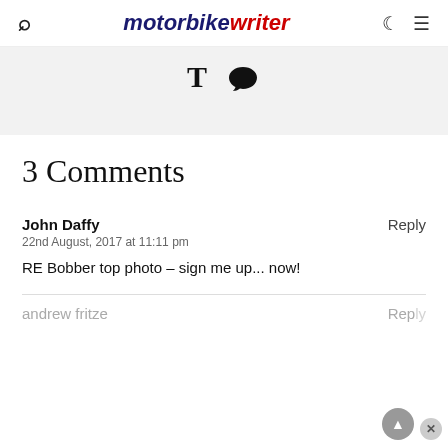motorbike writer
[Figure (screenshot): Social media share bar with T (Tumblr) and Twitter bird icon on a light grey background]
3 Comments
John Daffy
Reply
22nd August, 2017 at 11:11 pm
RE Bobber top photo – sign me up... now!
andrew fritze
Reply